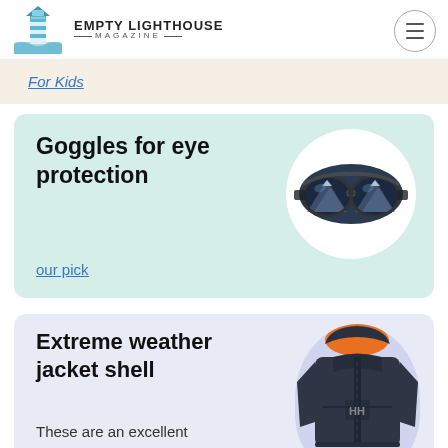EMPTY LIGHTHOUSE MAGAZINE
For Kids
Goggles for eye protection
[Figure (photo): Ski goggles reflecting mountain scenery]
our pick
Extreme weather jacket shell
[Figure (photo): Dark grey Helly Hansen extreme weather jacket with orange hood lining]
These are an excellent value: